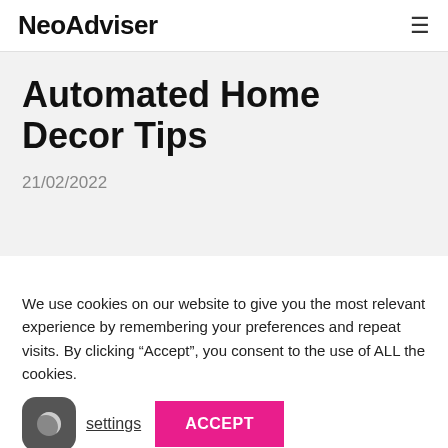NeoAdviser
Automated Home Decor Tips
21/02/2022
We use cookies on our website to give you the most relevant experience by remembering your preferences and repeat visits. By clicking “Accept”, you consent to the use of ALL the cookies.
settings  ACCEPT